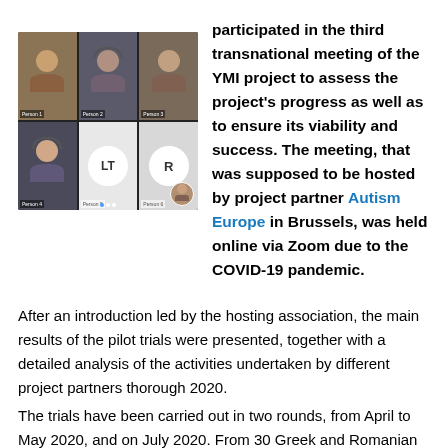[Figure (screenshot): Screenshot of a video conference call (Zoom) showing 6 participants in a grid layout, some with avatars showing initials LT and R, others showing faces/silhouettes.]
participated in the third transnational meeting of the YMI project to assess the project's progress as well as to ensure its viability and success. The meeting, that was supposed to be hosted by project partner Autism Europe in Brussels, was held online via Zoom due to the COVID-19 pandemic.
After an introduction led by the hosting association, the main results of the pilot trials were presented, together with a detailed analysis of the activities undertaken by different project partners thorough 2020.
The trials have been carried out in two rounds, from April to May 2020, and on July 2020. From 30 Greek and Romanian